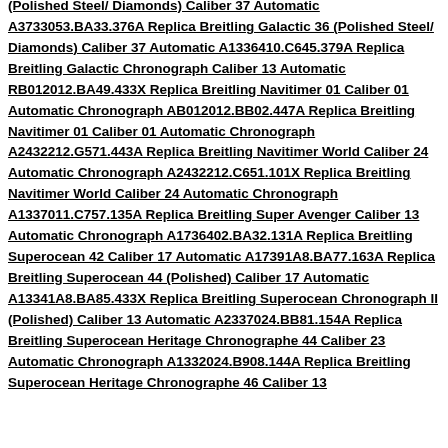(Polished Steel/ Diamonds) Caliber 37 Automatic A3733053.BA33.376A Replica Breitling Galactic 36 (Polished Steel/ Diamonds) Caliber 37 Automatic A1336410.C645.379A Replica Breitling Galactic Chronograph Caliber 13 Automatic RB012012.BA49.433X Replica Breitling Navitimer 01 Caliber 01 Automatic Chronograph AB012012.BB02.447A Replica Breitling Navitimer 01 Caliber 01 Automatic Chronograph A2432212.G571.443A Replica Breitling Navitimer World Caliber 24 Automatic Chronograph A2432212.C651.101X Replica Breitling Navitimer World Caliber 24 Automatic Chronograph A1337011.C757.135A Replica Breitling Super Avenger Caliber 13 Automatic Chronograph A1736402.BA32.131A Replica Breitling Superocean 42 Caliber 17 Automatic A17391A8.BA77.163A Replica Breitling Superocean 44 (Polished) Caliber 17 Automatic A13341A8.BA85.433X Replica Breitling Superocean Chronograph II (Polished) Caliber 13 Automatic A2337024.BB81.154A Replica Breitling Superocean Heritage Chronographe 44 Caliber 23 Automatic Chronograph A1332024.B908.144A Replica Breitling Superocean Heritage Chronographe 46 Caliber 13